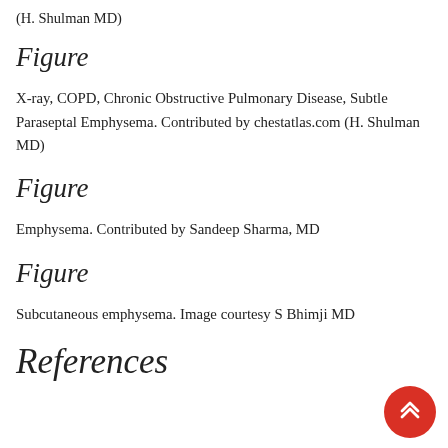(H. Shulman MD)
Figure
X-ray, COPD, Chronic Obstructive Pulmonary Disease, Subtle Paraseptal Emphysema. Contributed by chestatlas.com (H. Shulman MD)
Figure
Emphysema. Contributed by Sandeep Sharma, MD
Figure
Subcutaneous emphysema. Image courtesy S Bhimji MD
References